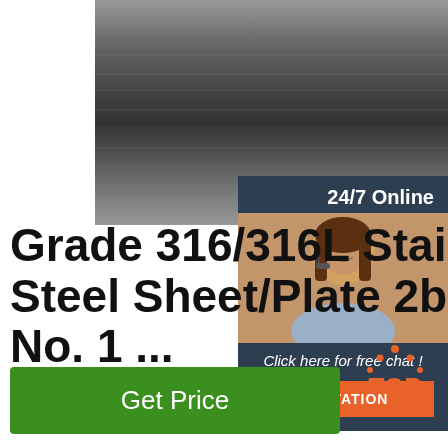[Figure (photo): Stainless steel sheet/plate surface texture, dark metallic brushed finish]
Grade 316/316L Stainless Steel Sheet/Plate 2b, Ba, No. 1 ...
Grade 316/316L Stainless Steel Sheet/Plate 2b, Ba, No. 1, 8K, HI or as Your Requested Made in China, Find details about China Building 304 from Grade 316/316L Stainless Steel Sheet/Plate 2b, Ba, No. 1, 8K, HI or as Your Requested Made in China - LIAOCHENG LUXI ...
[Figure (photo): Customer service representative smiling with headset, 24/7 Online chat widget with QUOTATION button]
Get Price